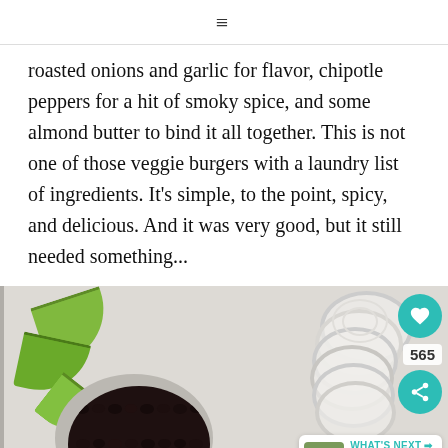≡
roasted onions and garlic for flavor, chipotle peppers for a hit of smoky spice, and some almond butter to bind it all together. This is not one of those veggie burgers with a laundry list of ingredients. It's simple, to the point, spicy, and delicious. And it was very good, but it still needed something...
[Figure (photo): Flat-lay photo showing lime wedges, a bowl of black beans, sliced white onion, and a jar of almond butter on a light grey background. Overlaid with a teal heart button showing 565 saves, a share button, and a 'What's Next' card linking to 'One Pan Brown Butte...']